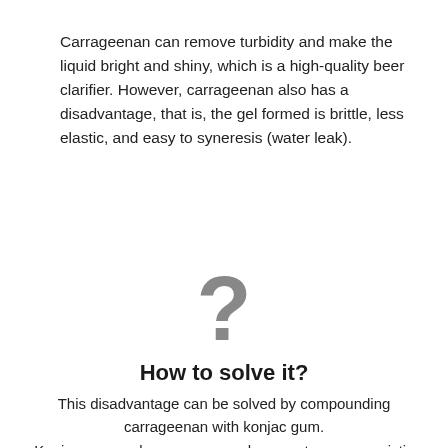Carrageenan can remove turbidity and make the liquid bright and shiny, which is a high-quality beer clarifier. However, carrageenan also has a disadvantage, that is, the gel formed is brittle, less elastic, and easy to syneresis (water leak).
[Figure (illustration): Large gray question mark symbol centered on the page]
How to solve it?
This disadvantage can be solved by compounding carrageenan with konjac gum. Konjac gum and κ-carrageenan have a strong synergistic effect, can significantly enhance the gel strength and elasticity of carrageenan, reduce the water secretion of carrageenan, its effect is stronger than locust bean gum,